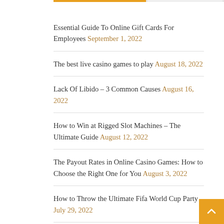Essential Guide To Online Gift Cards For Employees September 1, 2022
The best live casino games to play August 18, 2022
Lack Of Libido – 3 Common Causes August 16, 2022
How to Win at Rigged Slot Machines – The Ultimate Guide August 12, 2022
The Payout Rates in Online Casino Games: How to Choose the Right One for You August 3, 2022
How to Throw the Ultimate Fifa World Cup Party July 29, 2022
How To Ensure Financial Planning with Life Insurance? July 29, 2022